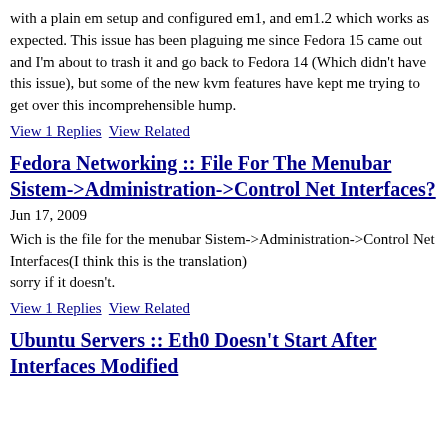with a plain em setup and configured em1, and em1.2 which works as expected. This issue has been plaguing me since Fedora 15 came out and I'm about to trash it and go back to Fedora 14 (Which didn't have this issue), but some of the new kvm features have kept me trying to get over this incomprehensible hump.
View 1 Replies   View Related
Fedora Networking :: File For The Menubar Sistem->Administration->Control Net Interfaces?
Jun 17, 2009
Wich is the file for the menubar Sistem->Administration->Control Net Interfaces(I think this is the translation)
sorry if it doesn't.
View 1 Replies   View Related
Ubuntu Servers :: Eth0 Doesn't Start After Interfaces Modified